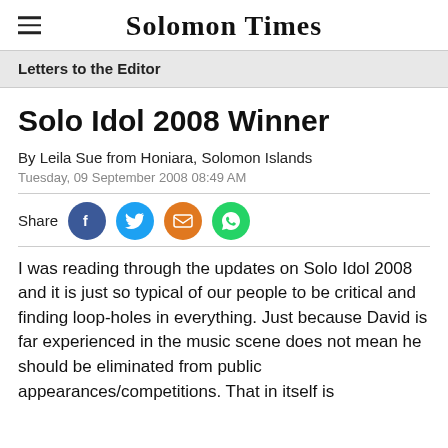Solomon Times
Letters to the Editor
Solo Idol 2008 Winner
By Leila Sue from Honiara, Solomon Islands
Tuesday, 09 September 2008 08:49 AM
Share
I was reading through the updates on Solo Idol 2008 and it is just so typical of our people to be critical and finding loop-holes in everything. Just because David is far experienced in the music scene does not mean he should be eliminated from public appearances/competitions. That in itself is discriminatory and his rights to be just like any other